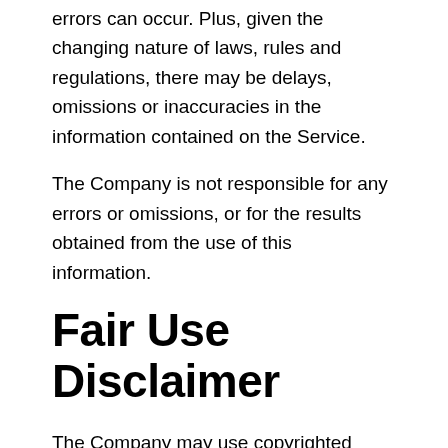errors can occur. Plus, given the changing nature of laws, rules and regulations, there may be delays, omissions or inaccuracies in the information contained on the Service.
The Company is not responsible for any errors or omissions, or for the results obtained from the use of this information.
Fair Use Disclaimer
The Company may use copyrighted material which has not always been specifically authorized by the copyright owner. The Company is making such material available for criticism, comment, news reporting, teaching, scholarship, or research.